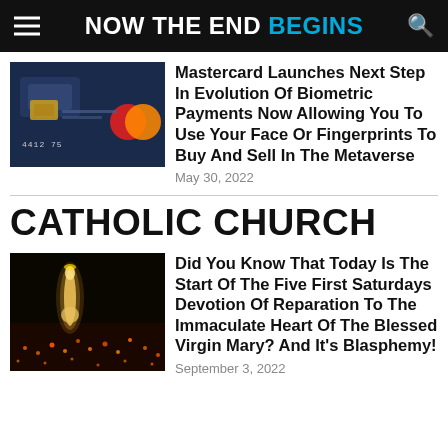NOW THE END BEGINS
Mastercard Launches Next Step In Evolution Of Biometric Payments Now Allowing You To Use Your Face Or Fingerprints To Buy And Sell In The Metaverse
May 30, 2022
CATHOLIC CHURCH
Did You Know That Today Is The Start Of The Five First Saturdays Devotion Of Reparation To The Immaculate Heart Of The Blessed Virgin Mary? And It's Blasphemy!
September 3, 2022